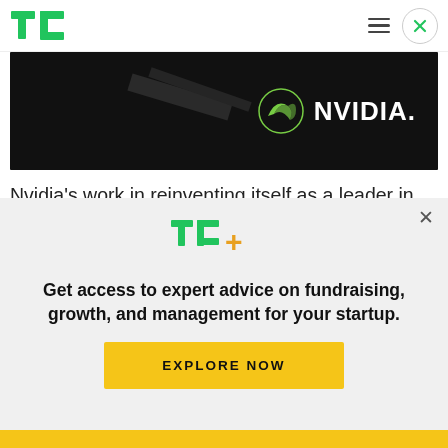TechCrunch (TC logo) — navigation header with hamburger menu and close button
[Figure (photo): Dark/black background image with NVIDIA logo (green swoosh icon and white 'NVIDIA.' wordmark) in the top-right area]
Nvidia's work in reinventing itself as a leader in automated-car technology continues with the launch of a new system-on-a-chip, called Xavier and launched today at the GPU Technology Conference Europe. The Xavier SoC manages 20
[Figure (other): TechCrunch TC+ paywall overlay with green TC+ logo, bold text 'Get access to expert advice on fundraising, growth, and management for your startup.' and a yellow 'EXPLORE NOW' button]